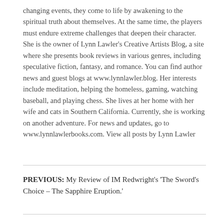changing events, they come to life by awakening to the spiritual truth about themselves. At the same time, the players must endure extreme challenges that deepen their character. She is the owner of Lynn Lawler's Creative Artists Blog, a site where she presents book reviews in various genres, including speculative fiction, fantasy, and romance. You can find author news and guest blogs at www.lynnlawler.blog. Her interests include meditation, helping the homeless, gaming, watching baseball, and playing chess. She lives at her home with her wife and cats in Southern California. Currently, she is working on another adventure. For news and updates, go to www.lynnlawlerbooks.com. View all posts by Lynn Lawler
PREVIOUS: My Review of IM Redwright's 'The Sword's Choice – The Sapphire Eruption.'